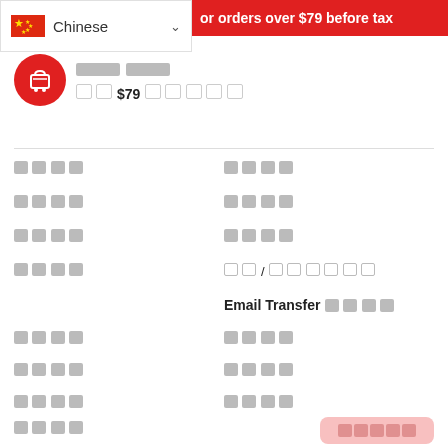or orders over $79 before tax
[Figure (screenshot): Language selector dropdown showing Chinese flag and 'Chinese' text with dropdown arrow]
[Figure (logo): Red circular cart icon]
□□□□
□□$79□□□□□
□□□□  □□□□
□□□□  □□□□
□□□□  □□□□
□□□□  □□/□□□□□□
Email Transfer□□□□
□□□□  □□□□
□□□□  □□□□
□□□□  □□□□
□□□□  □□□□
□□□□
□□□□
□□□□□